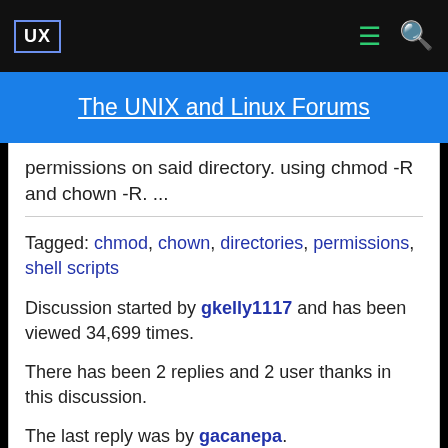UX  [menu icon]  [search icon]
The UNIX and Linux Forums
permissions on said directory. using chmod -R and chown -R. ...
Tagged: chmod, chown, directories, permissions, shell scripts
Discussion started by gkelly1117 and has been viewed 34,699 times.
There has been 2 replies and 2 user thanks in this discussion.
The last reply was by gacanepa.